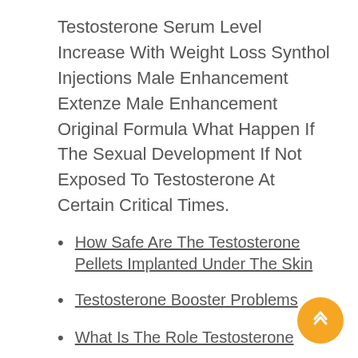Testosterone Serum Level Increase With Weight Loss Synthol Injections Male Enhancement Extenze Male Enhancement Original Formula What Happen If The Sexual Development If Not Exposed To Testosterone At Certain Critical Times.
How Safe Are The Testosterone Pellets Implanted Under The Skin
Testosterone Booster Problems
What Is The Role Testosterone
Male Enhancement Pornhub
Jamaican Red Liqor Male Enhancement